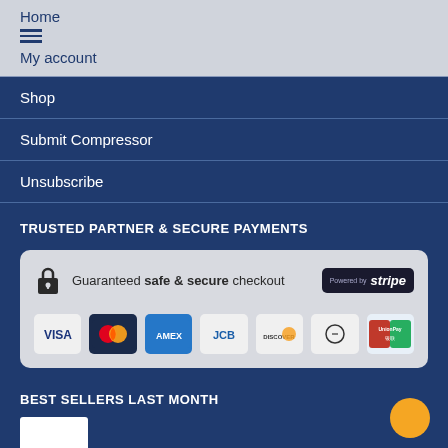Home
My account
Shop
Submit Compressor
Unsubscribe
TRUSTED PARTNER & SECURE PAYMENTS
[Figure (infographic): Secure checkout banner with lock icon, text 'Guaranteed safe & secure checkout', Stripe badge, and payment method logos: VISA, Mastercard, AMEX, JCB, DISCOVER, Diners Club, UnionPay]
BEST SELLERS LAST MONTH